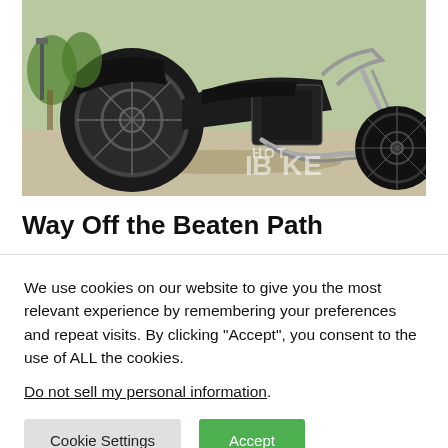[Figure (photo): Black chopper/custom motorcycle photographed from the rear-left angle in a driveway with green trees in background. HOT BIKE watermark visible in lower right corner.]
Way Off the Beaten Path
We use cookies on our website to give you the most relevant experience by remembering your preferences and repeat visits. By clicking “Accept”, you consent to the use of ALL the cookies.
Do not sell my personal information.
Cookie Settings | Accept